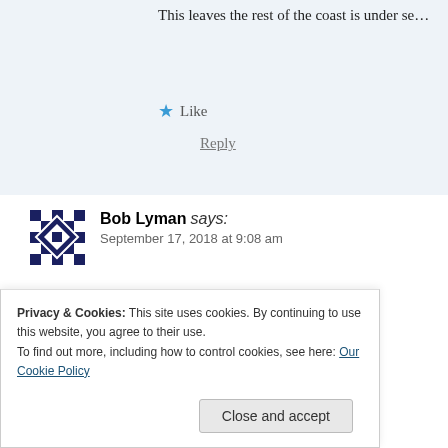This leaves the rest of the coast is under se...
Like  Reply
Bob Lyman says:
September 17, 2018 at 9:08 am
It has more capacity relative to the ris... covered than any other response orga... bases are located close to where the v... Duncan and Prince Rupert. New satel... at Vancouver Harbour, Beecher Bay, ...
Privacy & Cookies: This site uses cookies. By continuing to use this website, you agree to their use.
To find out more, including how to control cookies, see here: Our Cookie Policy
Close and accept